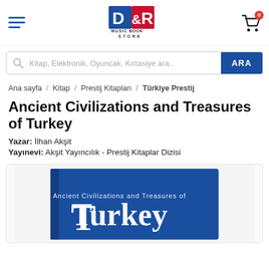[Figure (logo): D&R Music Book Store logo — red square with 'D', blue square with '&R', 'MUSIC BOOK' text, 'STORE' text below]
Kitap, Elektronik, Oyuncak, Kırtasiye ara..
Ana sayfa / Kitap / Prestij Kitapları / Türkiye Prestij
Ancient Civilizations and Treasures of Turkey
Yazar: İlhan Akşit
Yayınevi: Akşit Yayıncılık - Prestij Kitaplar Dizisi
[Figure (photo): Book cover of 'Ancient Civilizations and Treasures of Turkey' by İlhan Akşit — blue hardcover with large white title text]